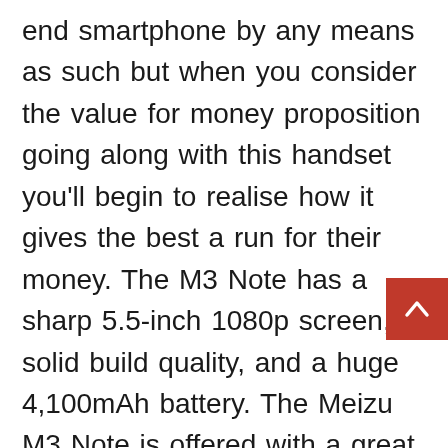end smartphone by any means as such but when you consider the value for money proposition going along with this handset you'll begin to realise how it gives the best a run for their money. The M3 Note has a sharp 5.5-inch 1080p screen, a solid build quality, and a huge 4,100mAh battery. The Meizu M3 Note is offered with a great processor (Quad-core 1.8 GHz Cortex-A53 & quad-core 1.0 GHz Cortex-A53, to be precise ), 32GB of internal memory, microSD support and 3GB RAM combination, making it a true multitasker. It also has a  modest 13-megapixel rear shooter, alongside 5-megapixel front camera. Perhaps, the biggest dilemma of the Meizu M3 Note is its Flyme OS, slapped on top of Google's Android mobile